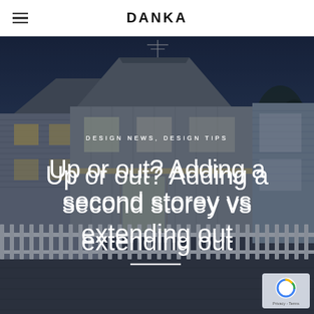DANKA
[Figure (photo): A two-storey house photographed at dusk/twilight with exterior lights on, showing weatherboard cladding, a white picket fence, and TV antenna on the roof against a dark blue evening sky.]
DESIGN NEWS, DESIGN TIPS
Up or out? Adding a second storey vs extending out